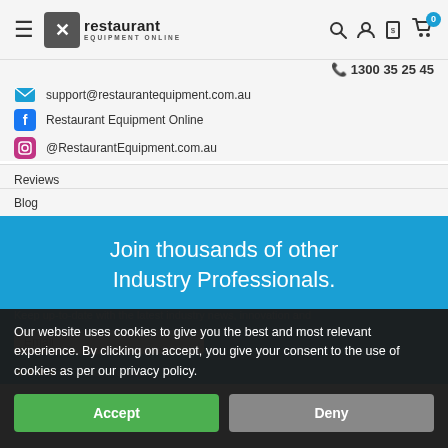Restaurant Equipment Online — 1300 35 25 45
support@restaurantequipment.com.au
Restaurant Equipment Online
@RestaurantEquipment.com.au
Reviews
Blog
Join thousands of other Industry Professionals.
Keep up-to-date with the latest industry news, innovation and...
Email
Our website uses cookies to give you the best and most relevant experience. By clicking on accept, you give your consent to the use of cookies as per our privacy policy.
Accept
Deny